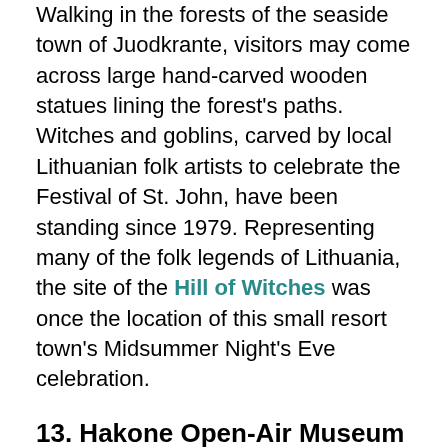Walking in the forests of the seaside town of Juodkrante, visitors may come across large hand-carved wooden statues lining the forest's paths. Witches and goblins, carved by local Lithuanian folk artists to celebrate the Festival of St. John, have been standing since 1979. Representing many of the folk legends of Lithuania, the site of the Hill of Witches was once the location of this small resort town's Midsummer Night's Eve celebration.
13. Hakone Open-Air Museum
Ashigarashimo District, Kanagawa Prefecture, Japan
Opened in 1969 as Japan's first open-air museum,